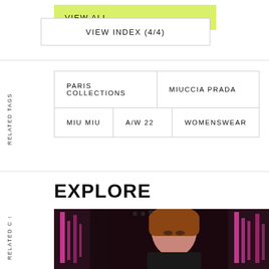VIEW ALL
VIEW INDEX (4/4)
RELATED TAGS
| PARIS COLLECTIONS | MIUCCIA PRADA |
| MIU MIU | A/W 22 | WOMENSWEAR |
EXPLORE
RELATED C
[Figure (photo): Fashion model on runway with dramatic pink neon lighting in background, wearing dark outfit, with styled auburn hair and bold eye makeup]